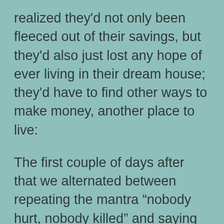realized they'd not only been fleeced out of their savings, but they'd also just lost any hope of ever living in their dream house; they'd have to find other ways to make money, another place to live:
The first couple of days after that we alternated between repeating the mantra “nobody hurt, nobody killed” and saying “maybe the reinforced concrete?” We even got a second, third and fourth opinion – all of them the same. The last one even said that it was so dangerous that he would never send his workers to work in our place whatever we